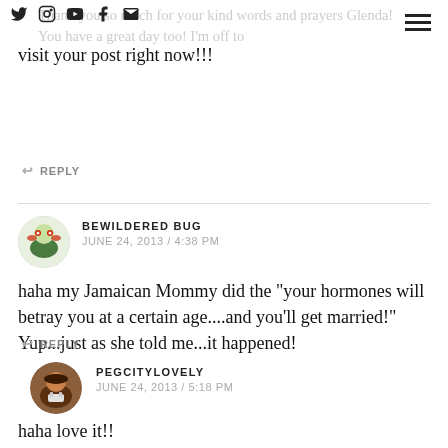Thank you so much for your kind words and prayers Glenda! You have a great day too! I'm off to visit your post right now!!!
↩ REPLY
BEWILDERED BUG
JUNE 24, 2013 / 4:38 PM
haha my Jamaican Mommy did the "your hormones will betray you at a certain age....and you'll get married!" Yup...just as she told me...it happened!
↩ REPLY
PEGCITYLOVELY
JUNE 24, 2013 / 5:18 PM
haha love it!!